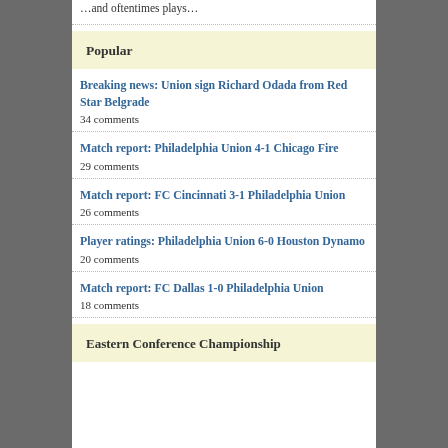...and oftentimes plays…
Popular
Breaking news: Union sign Richard Odada from Red Star Belgrade
34 comments
Match report: Philadelphia Union 4-1 Chicago Fire
29 comments
Match report: FC Cincinnati 3-1 Philadelphia Union
26 comments
Player ratings: Philadelphia Union 6-0 Houston Dynamo
20 comments
Match report: FC Dallas 1-0 Philadelphia Union
18 comments
Eastern Conference Championship